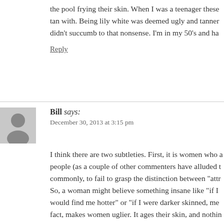the pool frying their skin. When I was a teenager these tan with. Being lily white was deemed ugly and tanner didn't succumb to that nonsense. I'm in my 50's and ha
Reply
Bill says:
December 30, 2013 at 3:15 pm
I think there are two subtleties. First, it is women who a people (as a couple of other commenters have alluded t commonly, to fail to grasp the distinction between "attr So, a woman might believe something insane like "if I would find me hotter" or "if I were darker skinned, me fact, makes women uglier. It ages their skin, and nothin women than age.
This explains the otherwise inexplicable tendency of w don't particularly like dark women, but women definite solipsistic. It also explains the tendency of women to b